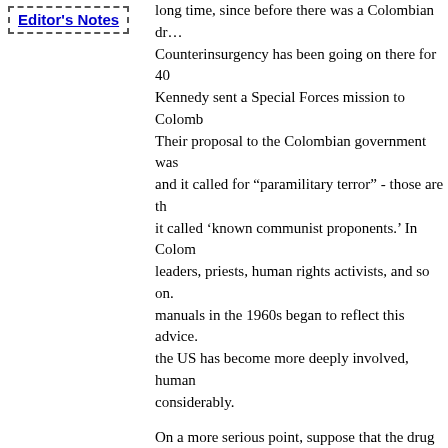Editor's Notes
long time, since before there was a Colombian dr... Counterinsurgency has been going on there for 40... Kennedy sent a Special Forces mission to Colomb... Their proposal to the Colombian government was... and it called for "paramilitary terror" - those are th... it called 'known communist proponents.' In Colom... leaders, priests, human rights activists, and so on.... manuals in the 1960s began to reflect this advice.... the US has become more deeply involved, human... considerably.
On a more serious point, suppose that the drug pr... Suppose that the US really is trying to get rid of d... Colombia then have the right to fumigate tobacco... They are producing a lethal substance far more da... More Colombians die from tobacco-related illnes... from cocaine. Of course, Colombia has no right to...
Week Online: Domestically, state, local, and fede... spent tens of billions of dollars on the "war on dru... remain as available, as pure, and as cheap as ever... accomplishing its stated goal, what is it accomplis... sort of latent agenda being served?
Chomsky: They have known all along that it won... evidence from their own research studies showin...